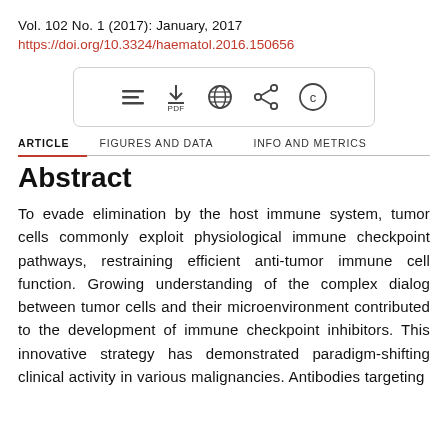Vol. 102 No. 1 (2017): January, 2017
https://doi.org/10.3324/haematol.2016.150656
[Figure (other): Toolbar with icons: hamburger menu, PDF download, globe/web, share, and copyright (C) buttons inside a rounded rectangle border]
ARTICLE | FIGURES AND DATA | INFO AND METRICS
Abstract
To evade elimination by the host immune system, tumor cells commonly exploit physiological immune checkpoint pathways, restraining efficient anti-tumor immune cell function. Growing understanding of the complex dialog between tumor cells and their microenvironment contributed to the development of immune checkpoint inhibitors. This innovative strategy has demonstrated paradigm-shifting clinical activity in various malignancies. Antibodies targeting